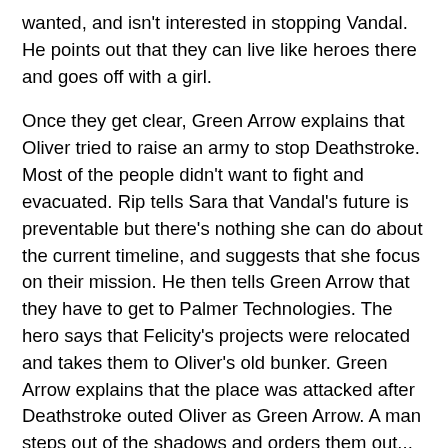wanted, and isn't interested in stopping Vandal. He points out that they can live like heroes there and goes off with a girl.
Once they get clear, Green Arrow explains that Oliver tried to raise an army to stop Deathstroke. Most of the people didn't want to fight and evacuated. Rip tells Sara that Vandal's future is preventable but there's nothing she can do about the current timeline, and suggests that she focus on their mission. He then tells Green Arrow that they have to get to Palmer Technologies. The hero says that Felicity's projects were relocated and takes them to Oliver's old bunker. Green Arrow explains that the place was attacked after Deathstroke outed Oliver as Green Arrow. A man steps out of the shadows and orders them out... and they realize that it's a one-armed and bearded Oliver.
Oliver says that he's dead and calls Green Arrow "John," telling him to put the arrow down. He explains that Green Arrow is John Diggle Jr., and John says that he doesn't deserve his father's name because he failed to save him. He's using the